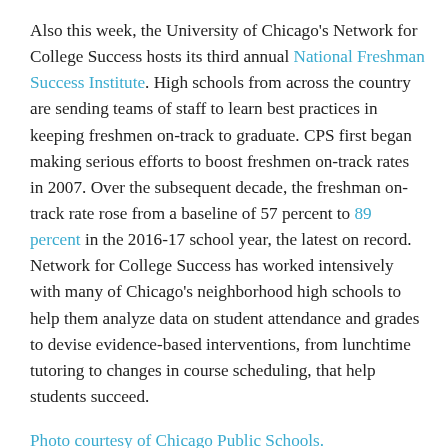Also this week, the University of Chicago's Network for College Success hosts its third annual National Freshman Success Institute. High schools from across the country are sending teams of staff to learn best practices in keeping freshmen on-track to graduate. CPS first began making serious efforts to boost freshmen on-track rates in 2007. Over the subsequent decade, the freshman on-track rate rose from a baseline of 57 percent to 89 percent in the 2016-17 school year, the latest on record. Network for College Success has worked intensively with many of Chicago's neighborhood high schools to help them analyze data on student attendance and grades to devise evidence-based interventions, from lunchtime tutoring to changes in course scheduling, that help students succeed.
Photo courtesy of Chicago Public Schools.